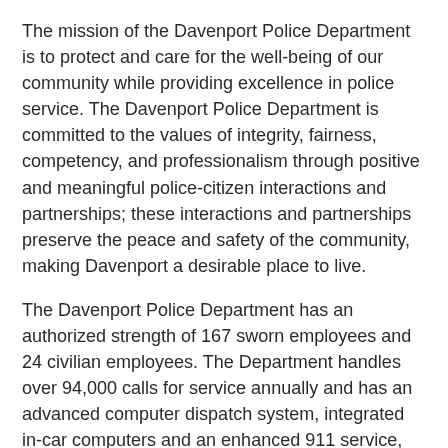The mission of the Davenport Police Department is to protect and care for the well-being of our community while providing excellence in police service. The Davenport Police Department is committed to the values of integrity, fairness, competency, and professionalism through positive and meaningful police-citizen interactions and partnerships; these interactions and partnerships preserve the peace and safety of the community, making Davenport a desirable place to live.
The Davenport Police Department has an authorized strength of 167 sworn employees and 24 civilian employees. The Department handles over 94,000 calls for service annually and has an advanced computer dispatch system, integrated in-car computers and an enhanced 911 service, supported by an outstanding, professional and dedicated group of men and women.
As you view our web site, please keep in mind the Davenport Police Department also has a number of excellent career opportunities in the field of law enforcement and public safety. If you are interested in joining a professional, hardworking service organization that can provide you with great career and challenges in...